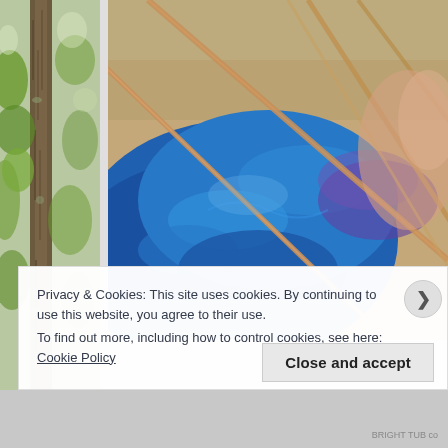[Figure (photo): Left sidebar showing a tree trunk with green foliage in background, portrait orientation]
[Figure (photo): Close-up photo of blue felted/knitted wool being worked with wooden knitting needles or rods, blurred background with sandy/earthy tones]
Privacy & Cookies: This site uses cookies. By continuing to use this website, you agree to their use.
To find out more, including how to control cookies, see here: Cookie Policy
Close and accept